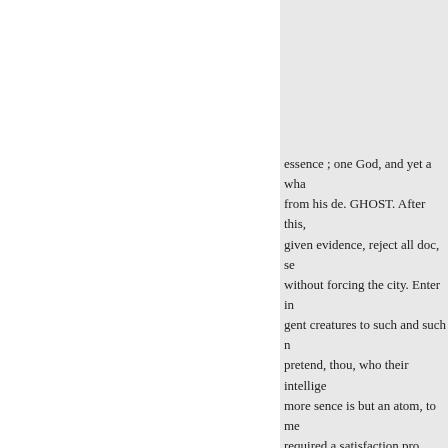essence ; one God, and yet a wha from his de. GHOST. After this, given evidence, reject all doc, se without forcing the city. Enter in gent creatures to such and such m pretend, thou, who their intellige more sence is but an atom, to me required a satisfaction pro, with h whom heaven, his own love hath from contain ? 1 Kings viii. 27. t the mystery of an in- out God? C perfection? angels admire, while deeper than liell what canst sorbs songs of stretcheth out the north mystery, by excellence, I the eart in his which nothing should mak tremble, and are astonished it as incomprehensible parts of his wa him? but ceive it on the testimon can understand? Gird up now Ei